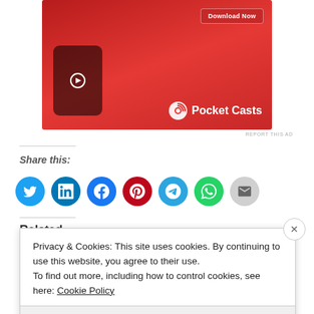[Figure (screenshot): Pocket Casts app advertisement banner with red background, phone mockup, and Download Now button]
REPORT THIS AD
Share this:
[Figure (infographic): Row of social sharing buttons: Twitter (blue), LinkedIn (blue), Facebook (blue), Pinterest (red), Telegram (blue), WhatsApp (green), Email (gray)]
Related
Privacy & Cookies: This site uses cookies. By continuing to use this website, you agree to their use.
To find out more, including how to control cookies, see here: Cookie Policy
Close and accept